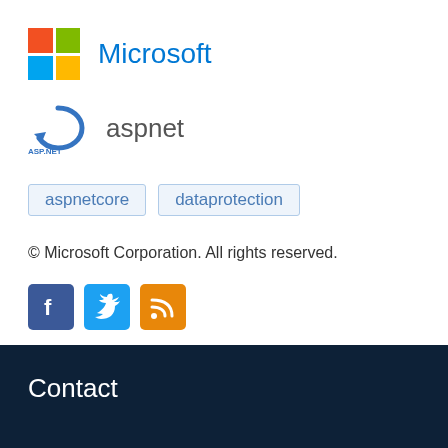[Figure (logo): Microsoft logo with four colored squares (red, green, blue, yellow) and the text 'Microsoft' in blue]
[Figure (logo): ASP.NET logo with curved arrow icon and 'ASP.NET' label, with text 'aspnet' beside it]
aspnetcore   dataprotection
© Microsoft Corporation. All rights reserved.
[Figure (logo): Social media icons: Facebook (blue), Twitter (blue), RSS feed (orange)]
Contact